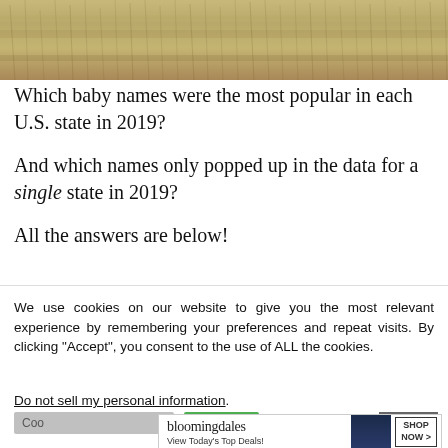[Figure (photo): Dry golden grass field / wheat field texture photo strip at top of page]
Which baby names were the most popular in each U.S. state in 2019?
And which names only popped up in the data for a single state in 2019?
All the answers are below!
We use cookies on our website to give you the most relevant experience by remembering your preferences and repeat visits. By clicking “Accept”, you consent to the use of ALL the cookies.
Do not sell my personal information.
[Figure (screenshot): Bloomingdale's advertisement banner: logo text 'bloomingdales', subtext 'View Today’s Top Deals!', image of woman in dark hat, SHOP NOW > button]